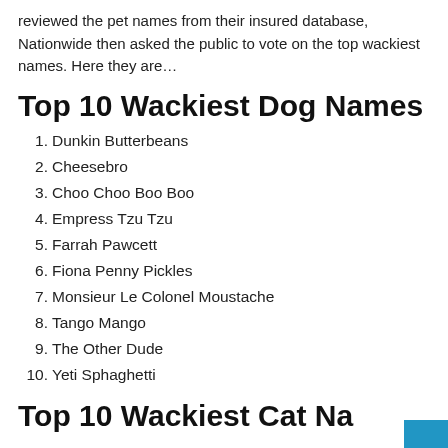reviewed the pet names from their insured database, Nationwide then asked the public to vote on the top wackiest names. Here they are…
Top 10 Wackiest Dog Names
1. Dunkin Butterbeans
2. Cheesebro
3. Choo Choo Boo Boo
4. Empress Tzu Tzu
5. Farrah Pawcett
6. Fiona Penny Pickles
7. Monsieur Le Colonel Moustache
8. Tango Mango
9. The Other Dude
10. Yeti Sphaghetti
Top 10 Wackiest Cat Names